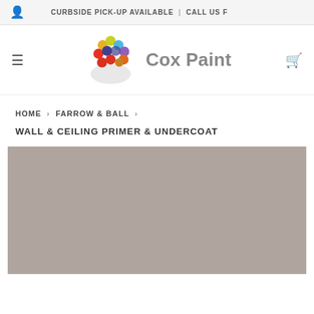CURBSIDE PICK-UP AVAILABLE | CALL US F
[Figure (logo): Cox Paint logo with colorful dots forming a paint palette shape and gray text 'Cox Paint']
HOME › FARROW & BALL ›
WALL & CEILING PRIMER & UNDERCOAT
[Figure (photo): Gray product image placeholder — a solid gray-beige rectangle representing the Farrow & Ball Wall & Ceiling Primer & Undercoat product]